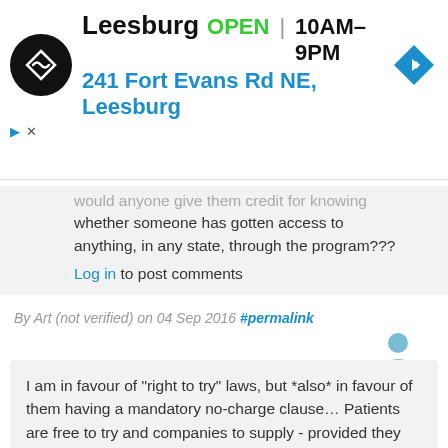[Figure (infographic): Advertisement banner: Leesburg store logo (black circle with double arrow icon), store name 'Leesburg', status 'OPEN', hours '10AM–9PM', address '241 Fort Evans Rd NE, Leesburg', navigation diamond icon]
would anyone give them credit for knowing whether someone has gotten access to anything, in any state, through the program???
Log in to post comments
By Art (not verified) on 04 Sep 2016 #permalink
I am in favour of "right to try" laws, but *also* in favour of them having a mandatory no-charge clause... Patients are free to try and companies to supply - provided they don't get a penny for the drug, only the clinical data.
I am sure a lot of companies will be significantly less interested in fighting for "patient rights" in